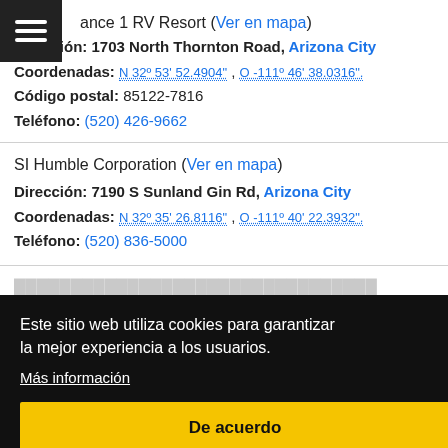[Figure (other): Hamburger menu icon, dark background with three white horizontal lines]
ance 1 RV Resort (Ver en mapa)
Dirección: 1703 North Thornton Road, Arizona City
Coordenadas: N 32º 53' 52.4904" , O -111º 46' 38.0316".
Código postal: 85122-7816
Teléfono: (520) 426-9662
SI Humble Corporation (Ver en mapa)
Dirección: 7190 S Sunland Gin Rd, Arizona City
Coordenadas: N 32º 35' 26.8116" , O -111º 40' 22.3932".
Teléfono: (520) 836-5000
Este sitio web utiliza cookies para garantizar la mejor experiencia a los usuarios.
Más información
De acuerdo
Dirección: ... Arizona City
Coordenadas: ...
Teléfono: (520) 836-8756